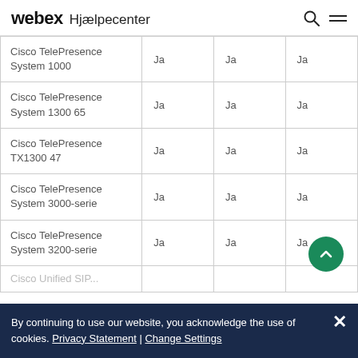webex Hjælpecenter
|  |  |  |  |
| --- | --- | --- | --- |
| Cisco TelePresence System 1000 | Ja | Ja | Ja |
| Cisco TelePresence System 1300 65 | Ja | Ja | Ja |
| Cisco TelePresence TX1300 47 | Ja | Ja | Ja |
| Cisco TelePresence System 3000-serie | Ja | Ja | Ja |
| Cisco TelePresence System 3200-serie | Ja | Ja | Ja |
| Cisco Unified SIP... |  |  |  |
By continuing to use our website, you acknowledge the use of cookies. Privacy Statement | Change Settings